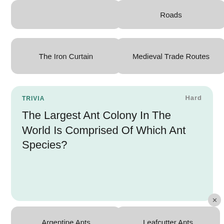The Iron Curtain
Roads
Medieval Trade Routes
[Figure (screenshot): A trivia question card with light green background labeled TRIVIA and difficulty Hard. Question: The Largest Ant Colony In The World Is Comprised Of Which Ant Species?]
Argentine Ants
Leafcutter Ants